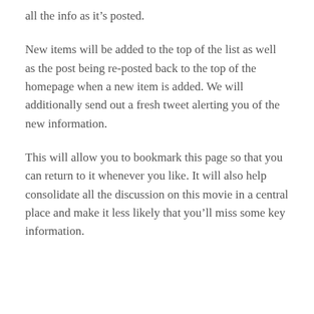all the info as it's posted.
New items will be added to the top of the list as well as the post being re-posted back to the top of the homepage when a new item is added. We will additionally send out a fresh tweet alerting you of the new information.
This will allow you to bookmark this page so that you can return to it whenever you like. It will also help consolidate all the discussion on this movie in a central place and make it less likely that you'll miss some key information.